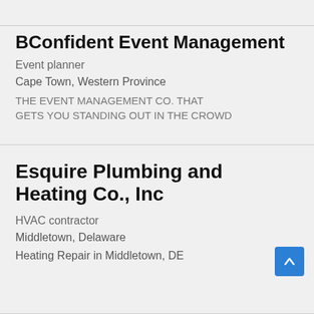BConfident Event Management
Event planner
Cape Town, Western Province
THE EVENT MANAGEMENT CO. THAT GETS YOU STANDING OUT IN THE CROWD
Esquire Plumbing and Heating Co., Inc
HVAC contractor
Middletown, Delaware
Heating Repair in Middletown, DE